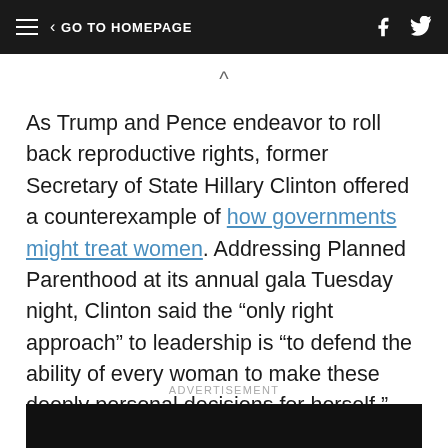≡ < GO TO HOMEPAGE
As Trump and Pence endeavor to roll back reproductive rights, former Secretary of State Hillary Clinton offered a counterexample of how governments might treat women. Addressing Planned Parenthood at its annual gala Tuesday night, Clinton said the “only right approach” to leadership is “to defend the ability of every woman to make these deeply personal decisions for herself.”
ADVERTISEMENT